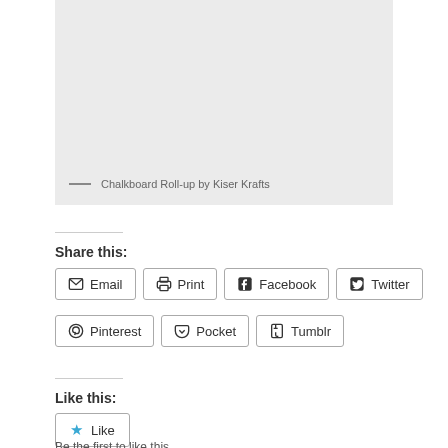[Figure (photo): Light gray placeholder image area for Chalkboard Roll-up by Kiser Krafts]
— Chalkboard Roll-up by Kiser Krafts
Share this:
Email  Print  Facebook  Twitter  Pinterest  Pocket  Tumblr
Like this:
Like
Be the first to like this.